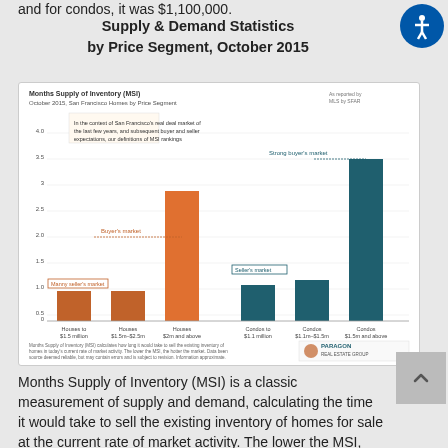and for condos, it was $1,100,000.
Supply & Demand Statistics by Price Segment, October 2015
[Figure (bar-chart): Months Supply of Inventory (MSI) — October 2015, San Francisco Homes by Price Segment]
Months Supply of Inventory (MSI) is a classic measurement of supply and demand, calculating the time it would take to sell the existing inventory of homes for sale at the current rate of market activity. The lower the MSI, the greater the demand as compared to the supply, i.e. the better the market. The house